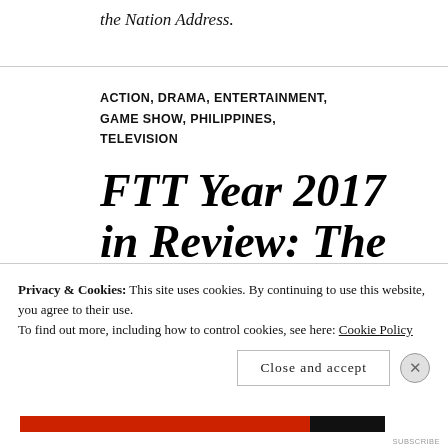the Nation Address.
ACTION, DRAMA, ENTERTAINMENT, GAME SHOW, PHILIPPINES, TELEVISION
FTT Year 2017 in Review: The Hot or Not Stories That Define the Year
Privacy & Cookies: This site uses cookies. By continuing to use this website, you agree to their use.
To find out more, including how to control cookies, see here: Cookie Policy
Close and accept